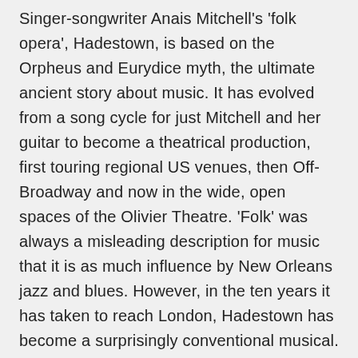Singer-songwriter Anais Mitchell's 'folk opera', Hadestown, is based on the Orpheus and Eurydice myth, the ultimate ancient story about music. It has evolved from a song cycle for just Mitchell and her guitar to become a theatrical production, first touring regional US venues, then Off-Broadway and now in the wide, open spaces of the Olivier Theatre. 'Folk' was always a misleading description for music that it is as much influence by New Orleans jazz and blues. However, in the ten years it has taken to reach London, Hadestown has become a surprisingly conventional musical. It does not provide enough of the unexpected, and somewhere along the line has mislaid its edge. The end result is a rather middling entertainment with high points and low points, but ultimately a lack of coherence.